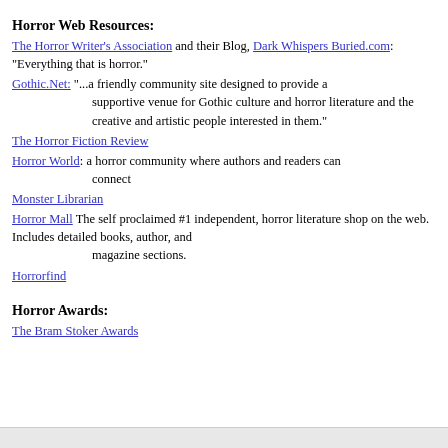Horror Web Resources:
The Horror Writer's Association and their Blog, Dark Whispers Buried.com: "Everything that is horror."
Gothic.Net: "...a friendly community site designed to provide a supportive venue for Gothic culture and horror literature and the creative and artistic people interested in them."
The Horror Fiction Review
Horror World: a horror community where authors and readers can connect
Monster Librarian
Horror Mall The self proclaimed #1 independent, horror literature shop on the web. Includes detailed books, author, and magazine sections.
Horrorfind
Horror Awards:
The Bram Stoker Awards